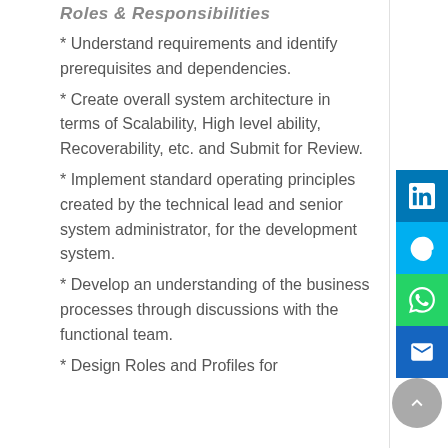Roles & Responsibilities
* Understand requirements and identify prerequisites and dependencies.
* Create overall system architecture in terms of Scalability, High level ability, Recoverability, etc. and Submit for Review.
* Implement standard operating principles created by the technical lead and senior system administrator, for the development system.
* Develop an understanding of the business processes through discussions with the functional team.
* Design Roles and Profiles for